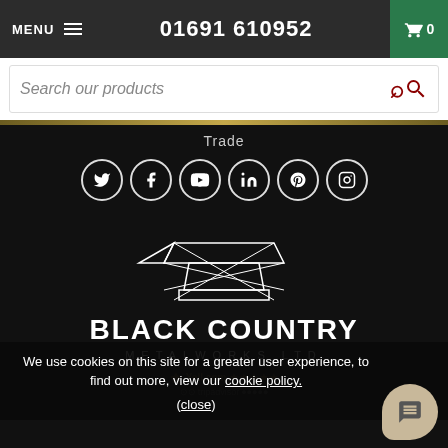MENU  01691 610952  0
Search our products
Trade
[Figure (illustration): Social media icons row: Twitter, Facebook, YouTube, LinkedIn, Pinterest, Instagram — white icons in circular outlines]
[Figure (logo): Black Country Metalworks Ltd logo — geometric anvil outline in white lines on black background, with text BLACK COUNTRY METALWORKS LTD]
[Figure (other): Yell.com and TripAdvisor review badges partially visible]
We use cookies on this site for a greater user experience, to find out more, view our cookie policy.
(close)